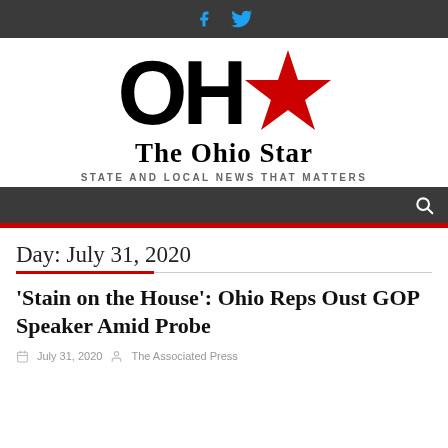f [Facebook] [Twitter]
[Figure (logo): The Ohio Star logo: large bold 'OH' letters with a red star, subtitle 'The Ohio Star', tagline 'STATE AND LOCAL NEWS THAT MATTERS']
Search icon
Day: July 31, 2020
'Stain on the House': Ohio Reps Oust GOP Speaker Amid Probe
July 31, 2020   The Associated Press